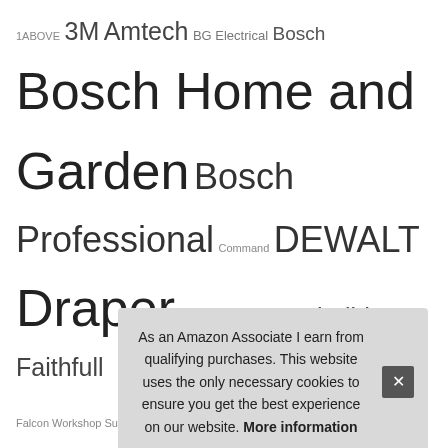1ABOVE 3M Amtech BG Electrical Bosch Bosch Home and Garden Bosch Professional Command DEWALT Draper Dulux Einhell Everbuild Faithfull Falcon Workshop Supplies Ltd Generic Gorilla HG Johnstone's Knightsbridge Kärcher Makita Merriway NA OX Tools Rolson RONSEAL Rust-Oleum Ryobi SabreCut Sealey Silverline Sourcingmap sourcing map Stanley Sterling TREND Unibond Unknown VonHaus White Hinge WORKPRO XFORT Yale Zerodis
Recent
As an Amazon Associate I earn from qualifying purchases. This website uses the only necessary cookies to ensure you get the best experience on our website. More information